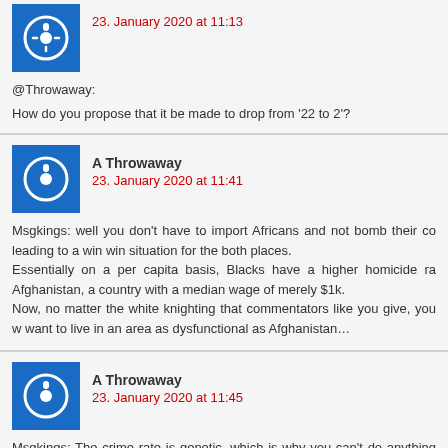23. January 2020 at 11:13
@Throwaway:
How do you propose that it be made to drop from '22 to 2'?
A Throwaway
23. January 2020 at 11:41
Msgkings: well you don't have to import Africans and not bomb their co leading to a win win situation for the both places. Essentially on a per capita basis, Blacks have a higher homicide ra Afghanistan, a country with a median wage of merely $1k. Now, no matter the white knighting that commentators like you give, you w want to live in an area as dysfunctional as Afghanistan…
A Throwaway
23. January 2020 at 11:45
Msgkings: The crime rate is genetic, which is why you can't do anything abo If you want to help, advocate for community policing which made 40% Bl